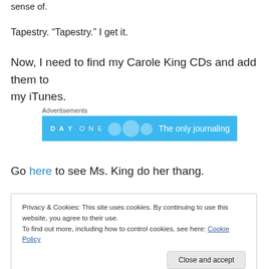sense of.
Tapestry. “Tapestry.” I get it.
Now, I need to find my Carole King CDs and add them to my iTunes.
[Figure (screenshot): Advertisement banner for DayOne app with blue background. Text reads 'DAY ONE' and 'The only journaling']
Go here to see Ms. King do her thang.
Privacy & Cookies: This site uses cookies. By continuing to use this website, you agree to their use.
To find out more, including how to control cookies, see here: Cookie Policy